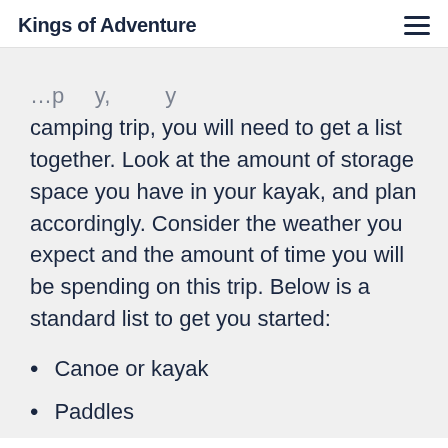Kings of Adventure
camping trip, you will need to get a list together. Look at the amount of storage space you have in your kayak, and plan accordingly. Consider the weather you expect and the amount of time you will be spending on this trip. Below is a standard list to get you started:
Canoe or kayak
Paddles
Repair kit